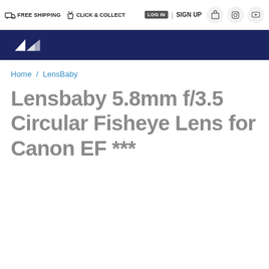FREE SHIPPING  CLICK & COLLECT  LOG IN | SIGN UP
[Figure (logo): White mountain/arrow logo on dark navy blue bar]
Home / LensBaby
Lensbaby 5.8mm f/3.5 Circular Fisheye Lens for Canon EF ***